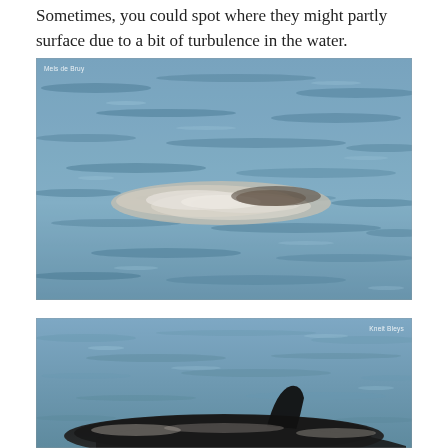Sometimes, you could spot where they might partly surface due to a bit of turbulence in the water.
[Figure (photo): Photo of choppy ocean water with white turbulence/foam visible on the surface, suggesting a marine animal just below. Watermark 'Mels de Bruy' in top-left corner.]
[Figure (photo): Photo of a dark marine animal (whale or dolphin) partially surfacing in choppy water, with its dorsal fin and back visible above the waterline. Watermark in top-right corner.]